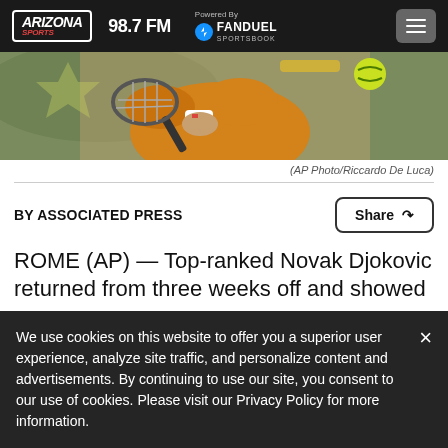Arizona Sports 98.7 FM — Powered By FanDuel Sportsbook
[Figure (photo): Tennis player in orange shirt hitting a shot with a racket, close-up action photo]
(AP Photo/Riccardo De Luca)
BY ASSOCIATED PRESS
ROME (AP) — Top-ranked Novak Djokovic returned from three weeks off and showed
We use cookies on this website to offer you a superior user experience, analyze site traffic, and personalize content and advertisements. By continuing to use our site, you consent to our use of cookies. Please visit our Privacy Policy for more information.